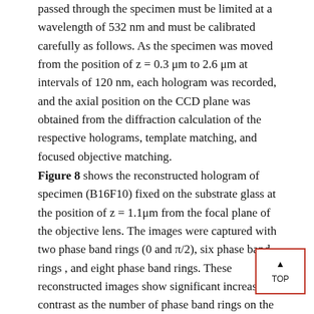passed through the specimen must be limited at a wavelength of 532 nm and must be calibrated carefully as follows. As the specimen was moved from the position of z = 0.3 μm to 2.6 μm at intervals of 120 nm, each hologram was recorded, and the axial position on the CCD plane was obtained from the diffraction calculation of the respective holograms, template matching, and focused objective matching.
Figure 8 shows the reconstructed hologram of specimen (B16F10) fixed on the substrate glass at the position of z = 1.1μm from the focal plane of the objective lens. The images were captured with two phase band rings (0 and π/2), six phase band rings , and eight phase band rings. These reconstructed images show significant increase in contrast as the number of phase band rings on the SLM increased from two to eight phase band rings. The improvements in contrast were realized by using the